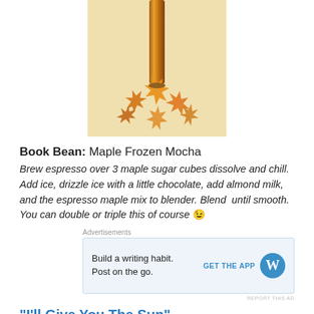[Figure (photo): Close-up photo of a drink (espresso/coffee) in a glass cup surrounded by orange maple leaves, on a light beige background]
Book Bean: Maple Frozen Mocha
Brew espresso over 3 maple sugar cubes dissolve and chill. Add ice, drizzle ice with a little chocolate, add almond milk, and the espresso maple mix to blender. Blend until smooth. You can double or triple this of course 😉
Advertisements
Build a writing habit. Post on the go. GET THE APP [WordPress logo]
REPORT THIS AD
"I'll Give You The Sun"
[Figure (photo): Partial image of colorful candles or sticks arranged in a sunburst pattern]